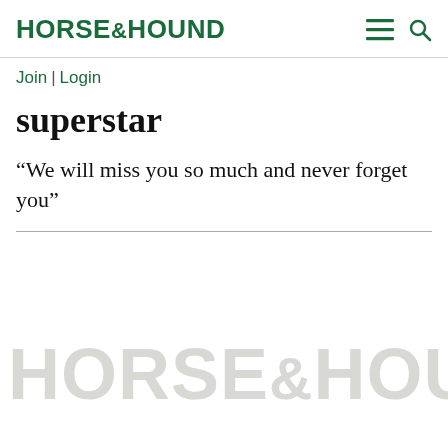HORSE&HOUND
Join | Login
superstar
“We will miss you so much and never forget you”
[Figure (logo): Horse & Hound watermark logo in light grey at the bottom of the page]